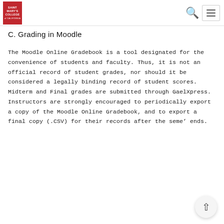Saint Mary's College of California — navigation header with search and menu icons
C. Grading in Moodle
The Moodle Online Gradebook is a tool designated for the convenience of students and faculty. Thus, it is not an official record of student grades, nor should it be considered a legally binding record of student scores. Midterm and Final grades are submitted through GaelXpress. Instructors are strongly encouraged to periodically export a copy of the Moodle Online Gradebook, and to export a final copy (.CSV) for their records after the semester ends.